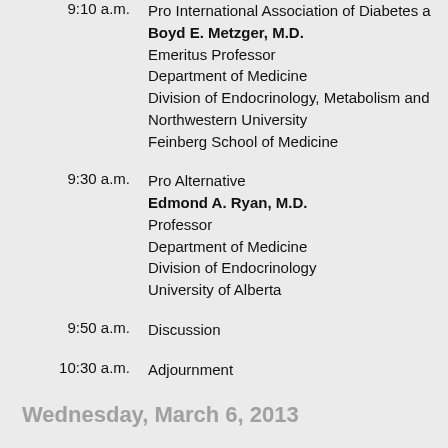9:10 a.m. — Pro International Association of Diabetes
Boyd E. Metzger, M.D.
Emeritus Professor
Department of Medicine
Division of Endocrinology, Metabolism and
Northwestern University
Feinberg School of Medicine
9:30 a.m. — Pro Alternative
Edmond A. Ryan, M.D.
Professor
Department of Medicine
Division of Endocrinology
University of Alberta
9:50 a.m. — Discussion
10:30 a.m. — Adjournment
Wednesday, March 6, 2013
9:00 a.m. — Presentation of the Draft Consensus State
9:30 a.m. — Discussion